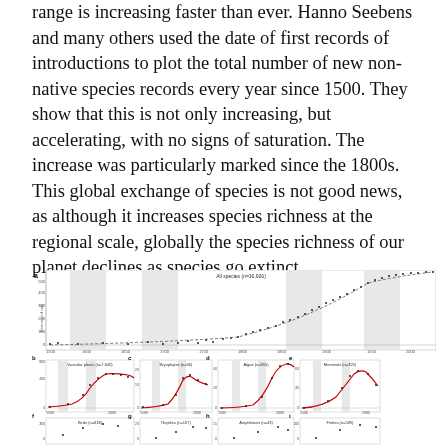range is increasing faster than ever. Hanno Seebens and many others used the date of first records of introductions to plot the total number of new non-native species records every year since 1500. They show that this is not only increasing, but accelerating, with no signs of saturation. The increase was particularly marked since the 1800s. This global exchange of species is not good news, as although it increases species richness at the regional scale, globally the species richness of our planet declines as species go extinct.
[Figure (continuous-plot): Multi-panel scatter/line chart showing first record rates of non-native species over time since 1500. Panel a shows all species (n=16,926) with black dots and dashed trend line. Panels b-e show Vascular plants (n=7,640), Bryophytes (n=96), Algae (n=855), Mammals (n=329) each with red smooth curve and black dots. Panels f-i show Birds (n=618), Reptiles (n=107), Amphibians (n=43), Fishes (n=539) partially visible.]